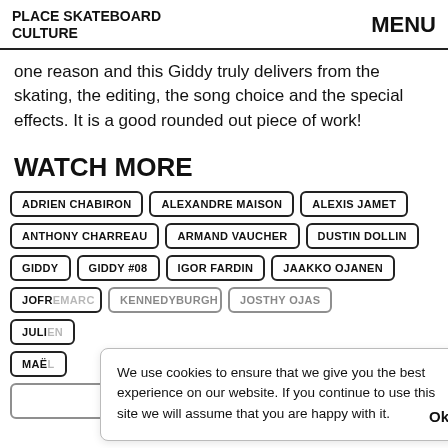PLACE SKATEBOARD CULTURE   MENU
one reason and this Giddy truly delivers from the skating, the editing, the song choice and the special effects. It is a good rounded out piece of work!
WATCH MORE
ADRIEN CHABIRON
ALEXANDRE MAISON
ALEXIS JAMET
ANTHONY CHARREAU
ARMAND VAUCHER
DUSTIN DOLLIN
GIDDY
GIDDY #08
IGOR FARDIN
JAAKKO OJANEN
JOFR...
JULI...
MAË...
We use cookies to ensure that we give you the best experience on our website. If you continue to use this site we will assume that you are happy with it. Ok